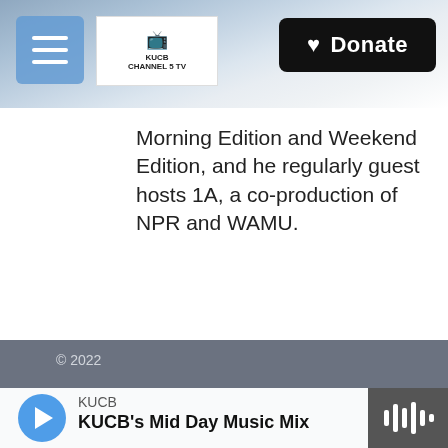KUCB Channel 5 TV — Donate
Morning Edition and Weekend Edition, and he regularly guest hosts 1A, a co-production of NPR and WAMU.
© 2022
KUCB
KUCB's Mid Day Music Mix